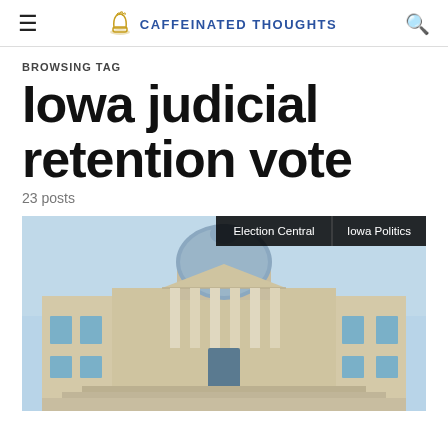≡  CAFFEINATED THOUGHTS  🔍
BROWSING TAG
Iowa judicial retention vote
23 posts
[Figure (photo): Photo of Iowa state capitol building or courthouse with dome and columns, blue sky background. Overlaid tags: 'Election Central' and 'Iowa Politics']